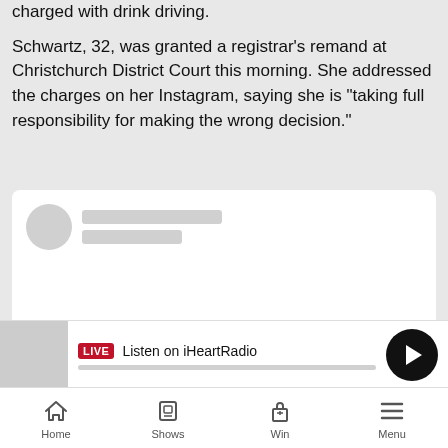charged with drink driving.
Schwartz, 32, was granted a registrar's remand at Christchurch District Court this morning. She addressed the charges on her Instagram, saying she is "taking full responsibility for making the wrong decision."
[Figure (screenshot): Embedded social media card (Instagram post preview) with blurred/redacted profile avatar and name lines, white card background, partially visible Instagram logo at bottom center.]
[Figure (screenshot): iHeartRadio audio player bar showing LIVE badge, 'Listen on iHeartRadio' text, a progress bar, and a black circular play button.]
[Figure (screenshot): Bottom navigation bar with four items: Home, Shows, Win, Menu with corresponding icons.]